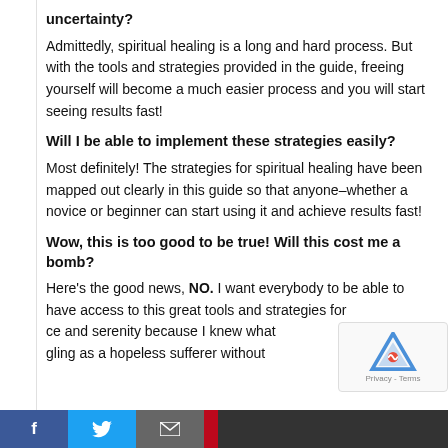uncertainty?
Admittedly, spiritual healing is a long and hard process. But with the tools and strategies provided in the guide, freeing yourself will become a much easier process and you will start seeing results fast!
Will I be able to implement these strategies easily?
Most definitely! The strategies for spiritual healing have been mapped out clearly in this guide so that anyone–whether a novice or beginner can start using it and achieve results fast!
Wow, this is too good to be true! Will this cost me a bomb?
Here's the good news, NO. I want everybody to be able to have access to this great tools and strategies for...ce and serenity because I knew what...gling as a hopeless sufferer without
f  [Twitter]  [mail]  [Pinterest]